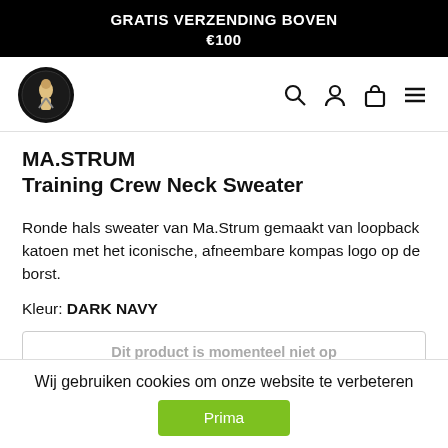GRATIS VERZENDING BOVEN €100
[Figure (logo): MA.STRUM circular logo with knight figure on black background, plus navigation icons (search, user, bag, menu)]
MA.STRUM
Training Crew Neck Sweater
Ronde hals sweater van Ma.Strum gemaakt van loopback katoen met het iconische, afneembare kompas logo op de borst.
Kleur: DARK NAVY
Dit product is momenteel niet op
Wij gebruiken cookies om onze website te verbeteren
Prima